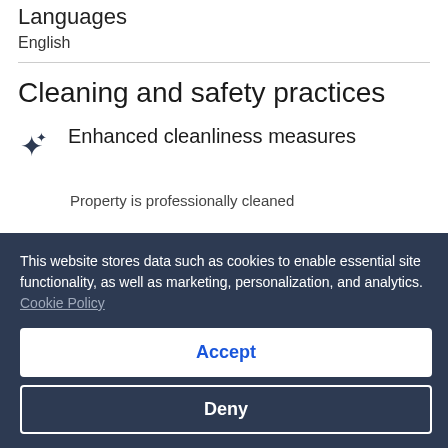Languages
English
Cleaning and safety practices
Enhanced cleanliness measures
Property is professionally cleaned
Disinfectant is used to clean the property
High-touch surfaces are cleaned and disinfected
This website stores data such as cookies to enable essential site functionality, as well as marketing, personalization, and analytics. Cookie Policy
Accept
Deny